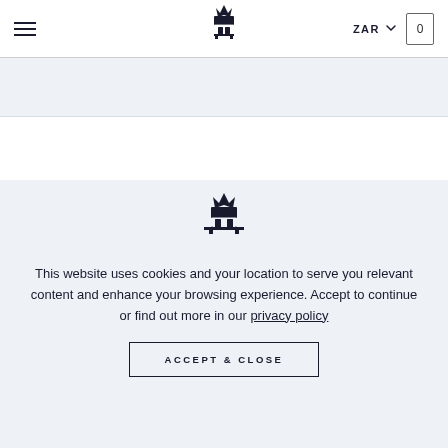Navigation bar with hamburger menu, hotel crest logo, ZAR currency selector, and cart icon showing 0
[Figure (logo): Hotel royal crest emblem with crown in dark navy, top navigation bar]
[Figure (logo): Hotel royal crest emblem with crown, larger version in cookie consent overlay]
This website uses cookies and your location to serve you relevant content and enhance your browsing experience. Accept to continue or find out more in our privacy policy
ACCEPT & CLOSE